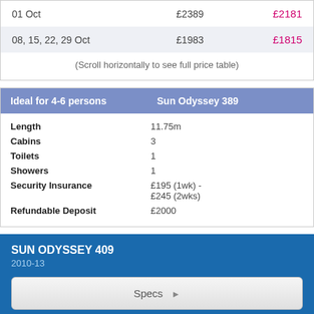| Date | Price | Sale Price |
| --- | --- | --- |
| 01 Oct | £2389 | £2181 |
| 08, 15, 22, 29 Oct | £1983 | £1815 |
| (Scroll horizontally to see full price table) |  |  |
| Ideal for 4-6 persons | Sun Odyssey 389 |
| --- | --- |
| Length | 11.75m |
| Cabins | 3 |
| Toilets | 1 |
| Showers | 1 |
| Security Insurance | £195 (1wk) - £245 (2wks) |
| Refundable Deposit | £2000 |
SUN ODYSSEY 409
2010-13
Specs ▶
QUICK QUOTE